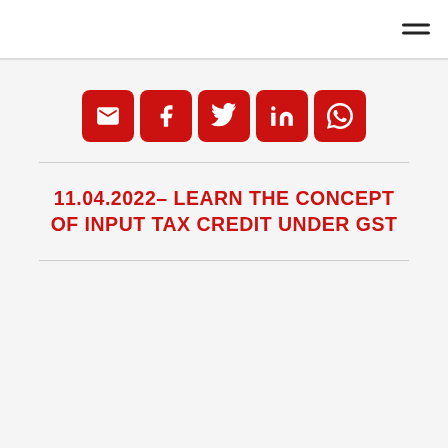[Figure (other): Social share buttons: Email, Facebook, Twitter, LinkedIn, WhatsApp — red rounded square buttons with white icons]
11.04.2022– LEARN THE CONCEPT OF INPUT TAX CREDIT UNDER GST